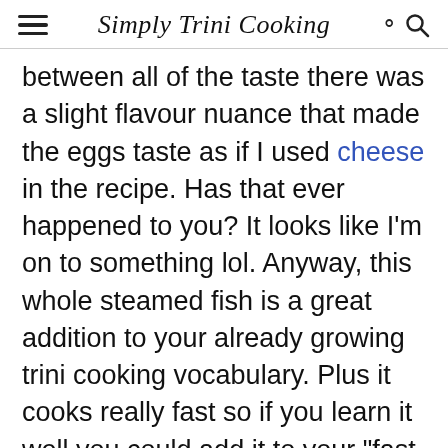Simply Trini Cooking
between all of the taste there was a slight flavour nuance that made the eggs taste as if I used cheese in the recipe. Has that ever happened to you? It looks like I'm on to something lol. Anyway, this whole steamed fish is a great addition to your already growing trini cooking vocabulary. Plus it cooks really fast so if you learn it well you could add it to your "fast cook" repertoire.